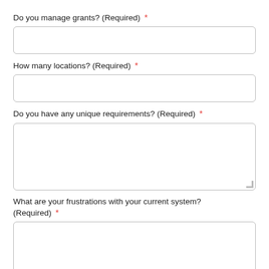Do you manage grants? (Required) *
How many locations? (Required) *
Do you have any unique requirements? (Required) *
What are your frustrations with your current system? (Required) *
SEND